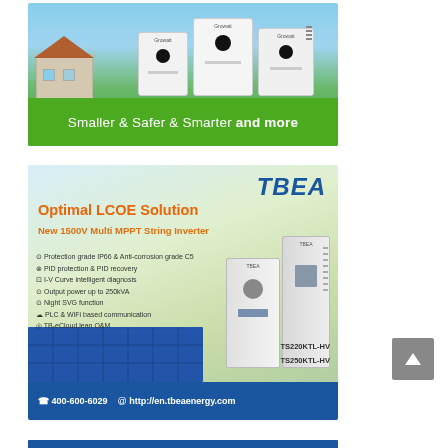[Figure (photo): Advertisement banner for solar inverter products showing three white inverter units against a house and sky background, with green strip at bottom. Text reads: Smaller & Safer & Smarter and more]
[Figure (photo): TBEA advertisement for Optimal LCOE Solution - New 1500V Multi MPPT String Inverter. Features: Protection grade IP66 & Anti-corrosion grade C5, PID protection & PID recovery, I-V Curve intelligent diagnosis, Output power up to 250kVA, Night SVG function, PLC & WiFi based communication, TB-eCloud lean O&M. Models: TS220KTL-HV, TS250KTL-HV. Contact: 400-600-6029, http://en.tbeaenergy.com]